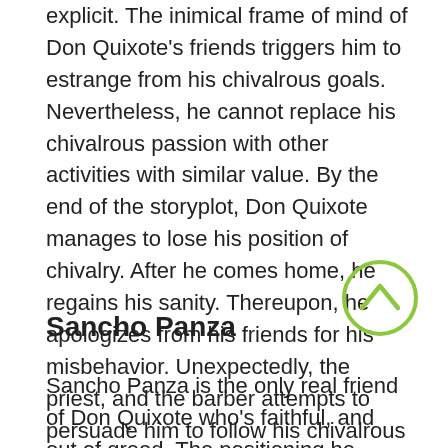explicit. The inimical frame of mind of Don Quixote's friends triggers him to estrange from his chivalrous goals. Nevertheless, he cannot replace his chivalrous passion with other activities with similar value. By the end of the storyplot, Don Quixote manages to lose his position of chivalry. After he comes home, he regains his sanity. Thereupon, he apologizes from his friends for his misbehavior. Unexpectedly, the priest, and the barber attempts to persuade him to follow his chivalrous goals. While fainting, he leaves everything he has to his niece, his housekeeper, and Sancho. Being aware of the priest's and the barber's unfriendly behaviour, he does not inherit anything to them.
[Figure (other): Green circle with an upward-pointing chevron/arrow icon]
Sancho Panza
Sancho Panza is the only real friend of Don Quixote who's faithful, and out of greed. The positioning he takes towards Don Quixote's mad world is the fact that he's